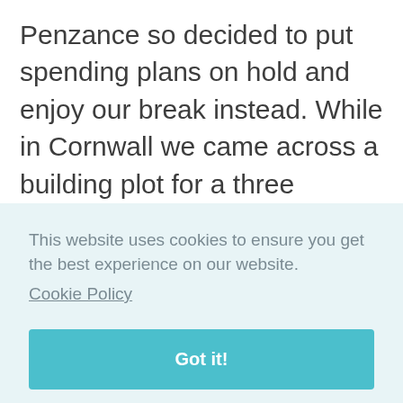Penzance so decided to put spending plans on hold and enjoy our break instead. While in Cornwall we came across a building plot for a three bedroom house and decide to blow all our savings on it. It was summer, the days were long and warm and before heading back to Kent we purchased a second hand caravan and installed it on our newly bought plot.
This website uses cookies to ensure you get the best experience on our website. Cookie Policy
Got it!